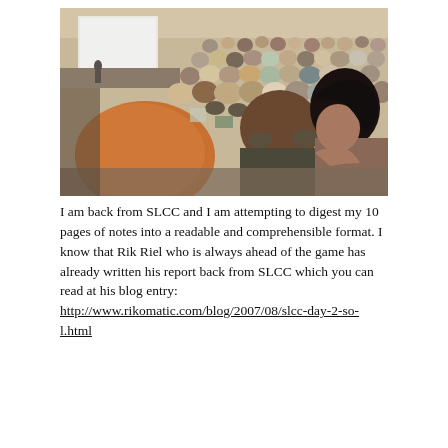[Figure (photo): A large conference hall filled with attendees sitting in rows of chairs, viewed from the back. A presenter is at the front near a projection screen. In the foreground, a young woman with dark hair looks back toward the camera.]
I am back from SLCC and I am attempting to digest my 10 pages of notes into a readable and comprehensible format. I know that Rik Riel who is always ahead of the game has already written his report back from SLCC which you can read at his blog entry: http://www.rikomatic.com/blog/2007/08/slcc-day-2-so-l.html